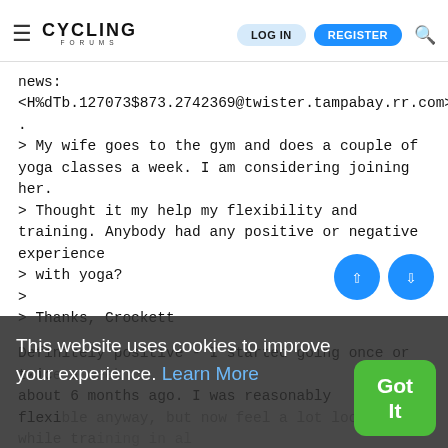Cycling Forums — LOG IN | REGISTER
news:
<H%dTb.127073$873.2742369@twister.tampabay.rr.com>..
.
> My wife goes to the gym and does a couple of yoga classes a week. I am considering joining her.
> Thought it my help my flexibility and training. Anybody had any positive or negative experience
> with yoga?
>
> Thanks, Crockett
Definitely positive - I started going once or twice a week about 6 months ago. I was reasonably flexible anyway, but now feel a lot looser while training in all 3 sports. It has also got rid of a lot of the little aches and pains I used to get when training a
This website uses cookies to improve your experience. Learn More